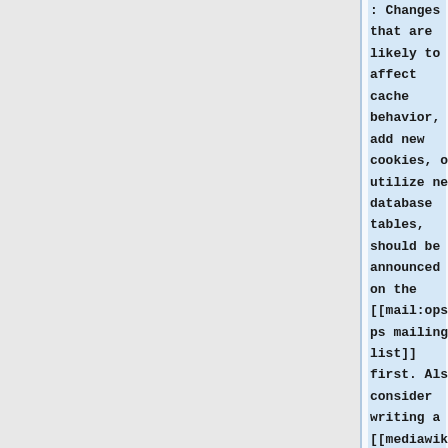: Changes that are likely to affect cache behavior, add new cookies, or utilize new database tables, should be announced on the [[mail:ops|ops mailing list]] first. Also consider writing a [[mediawikiw